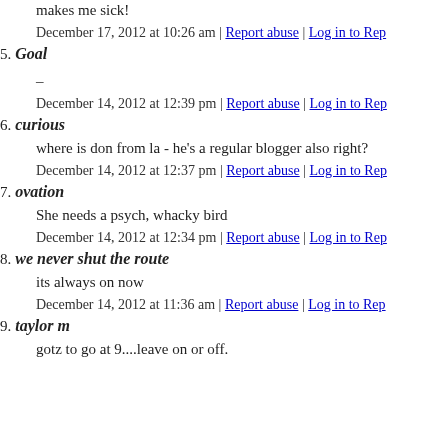makes me sick!
December 17, 2012 at 10:26 am | Report abuse | Log in to Rep
5. Goal
–
December 14, 2012 at 12:39 pm | Report abuse | Log in to Rep
6. curious
where is don from la - he's a regular blogger also right?
December 14, 2012 at 12:37 pm | Report abuse | Log in to Rep
7. ovation
She needs a psych, whacky bird
December 14, 2012 at 12:34 pm | Report abuse | Log in to Rep
8. we never shut the route
its always on now
December 14, 2012 at 11:36 am | Report abuse | Log in to Rep
9. taylor m
gotz to go at 9....leave on or off.